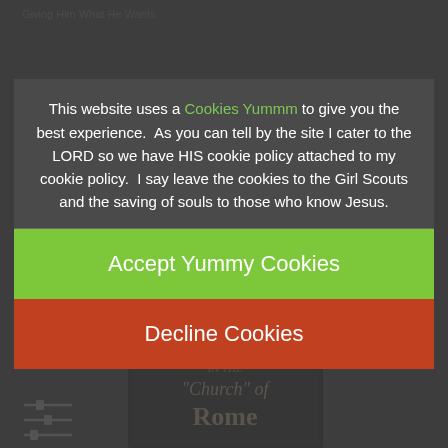[Figure (screenshot): Background website page content, dimmed/blurred behind cookie consent overlay. Shows a religious/Christian website with text about 'Giving Him What He Wants', sliders icon, italic text 'The Way It Is', a horizontal rule, and partial book cover showing '50 Years in the Church of Rome'.]
This website uses a Cookies Yummm to give you the best experience.  As you can tell by the site I cater to the LORD so we have HIS cookie policy attached to my cookie policy.  I say leave the cookies to the Girl Scouts and the saving of souls to those who know Jesus.
Accept Yummy Cookies
Decline Cookies